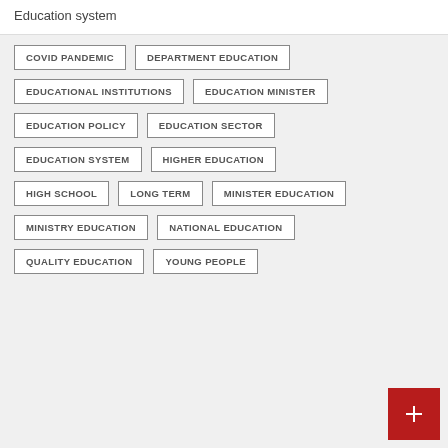Education system
COVID PANDEMIC
DEPARTMENT EDUCATION
EDUCATIONAL INSTITUTIONS
EDUCATION MINISTER
EDUCATION POLICY
EDUCATION SECTOR
EDUCATION SYSTEM
HIGHER EDUCATION
HIGH SCHOOL
LONG TERM
MINISTER EDUCATION
MINISTRY EDUCATION
NATIONAL EDUCATION
QUALITY EDUCATION
YOUNG PEOPLE